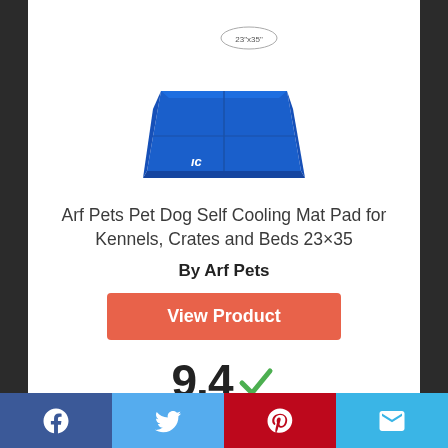[Figure (photo): Blue dog cooling mat pad, trapezoidal shape, with a small size label '23x35' above it]
Arf Pets Pet Dog Self Cooling Mat Pad for Kennels, Crates and Beds 23×35
By Arf Pets
View Product
9.4 ✓
Score
Facebook | Twitter | Pinterest | Email